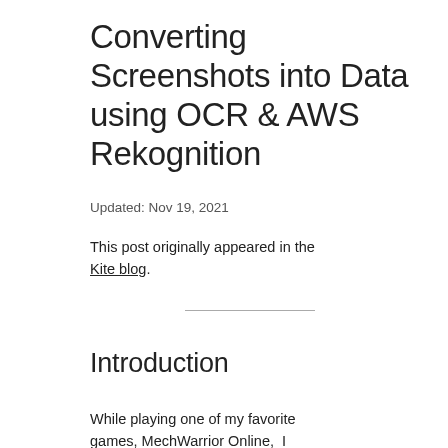Converting Screenshots into Data using OCR & AWS Rekognition
Updated: Nov 19, 2021
This post originally appeared in the Kite blog.
Introduction
While playing one of my favorite games, MechWarrior Online, I